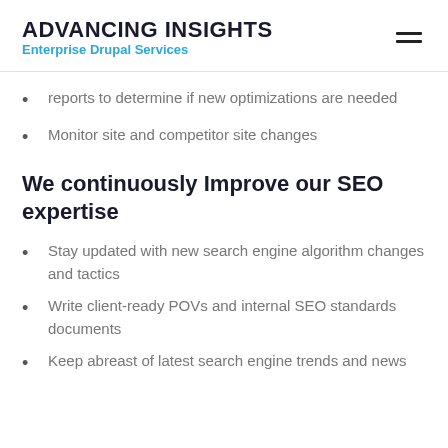ADVANCING INSIGHTS Enterprise Drupal Services
reports to determine if new optimizations are needed
Monitor site and competitor site changes
We continuously Improve our SEO expertise
Stay updated with new search engine algorithm changes and tactics
Write client-ready POVs and internal SEO standards documents
Keep abreast of latest search engine trends and news